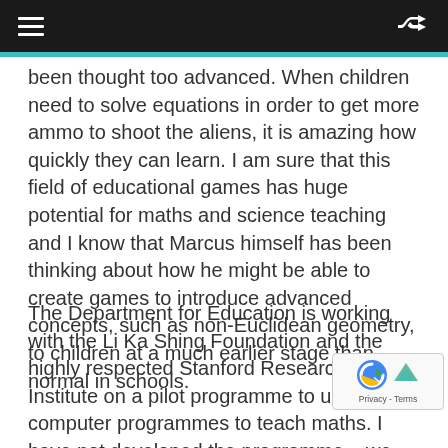≡  ⇌
been thought too advanced. When children need to solve equations in order to get more ammo to shoot the aliens, it is amazing how quickly they can learn. I am sure that this field of educational games has huge potential for maths and science teaching and I know that Marcus himself has been thinking about how he might be able to create games to introduce advanced concepts, such as non-Euclidean geometry, to children at a much earlier stage than normal in schools.
The Department for Education is working with the Li Ka Shing Foundation and the highly respected Stanford Research Institute on a pilot programme to use computer programmes to teach maths. I have not developed the programme – we are just helping them run a pilot. Stanford say it is one of